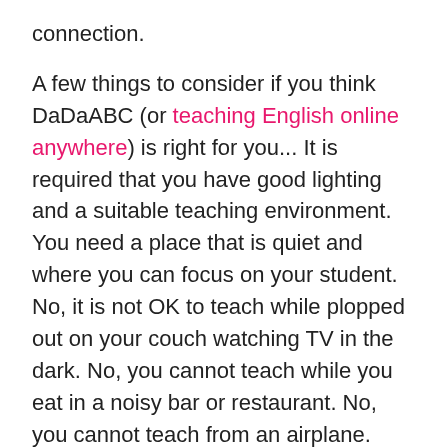connection.
A few things to consider if you think DaDaABC (or teaching English online anywhere) is right for you... It is required that you have good lighting and a suitable teaching environment. You need a place that is quiet and where you can focus on your student. No, it is not OK to teach while plopped out on your couch watching TV in the dark. No, you cannot teach while you eat in a noisy bar or restaurant. No, you cannot teach from an airplane. (Yes, I've seen these questions, for real.) This is still working. It is important you are respectful and committed to giving your students a quality, educational experience. They deserve your attention.